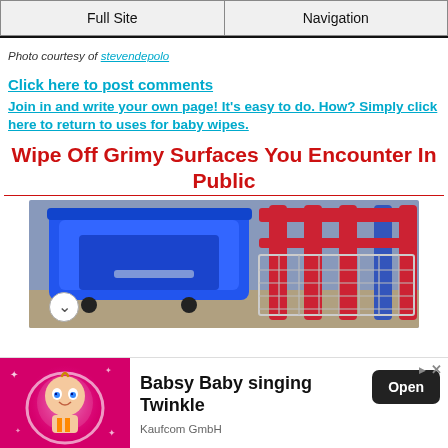Full Site | Navigation
Photo courtesy of stevendepolo
Click here to post comments
Join in and write your own page! It's easy to do. How? Simply click here to return to uses for baby wipes.
Wipe Off Grimy Surfaces You Encounter In Public
[Figure (photo): Shopping carts in a parking lot, blue and red metal carts side by side]
[Figure (illustration): Advertisement: Babsy Baby singing Twinkle - Kaufcom GmbH, with animated baby character on pink background and Open button]